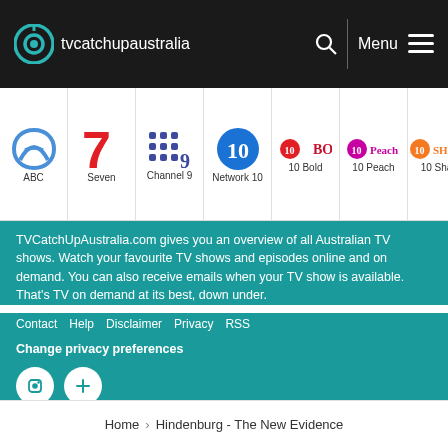tvcatchupaustralia — Menu
[Figure (logo): Channel logos strip: ABC, Seven, Channel 9, Network 10, 10 Bold, 10 Peach, 10 Sha...]
TVCatchUpAustralia.com gives you an overview of all Australian TV shows. Watch your favourite TV shows and episodes online and on demand. You can also receive emails when your TV show is available. That's TV on demand at its best, down under.
Contact   Help   Disclaimer   Privacy   RSS
Change privacy preferences
[Figure (other): Two white social media icon circles on teal background]
Channels
Home › Hindenburg - The New Evidence